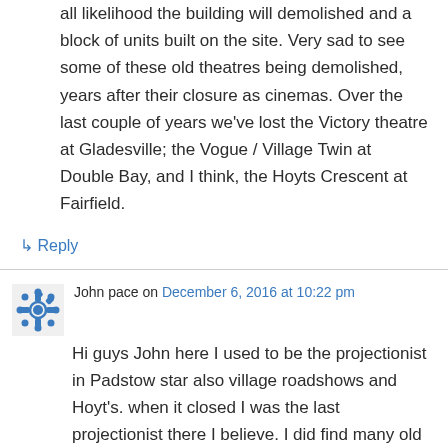all likelihood the building will demolished and a block of units built on the site. Very sad to see some of these old theatres being demolished, years after their closure as cinemas. Over the last couple of years we've lost the Victory theatre at Gladesville; the Vogue / Village Twin at Double Bay, and I think, the Hoyts Crescent at Fairfield.
↳ Reply
John pace on December 6, 2016 at 10:22 pm
Hi guys John here I used to be the projectionist in Padstow star also village roadshows and Hoyt's. when it closed I was the last projectionist there I believe. I did find many old posters from